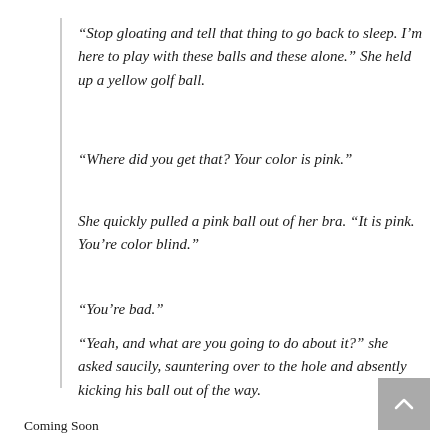“Stop gloating and tell that thing to go back to sleep. I’m here to play with these balls and these alone.” She held up a yellow golf ball.
“Where did you get that? Your color is pink.”
She quickly pulled a pink ball out of her bra. “It is pink. You’re color blind.”
“You’re bad.”
“Yeah, and what are you going to do about it?” she asked saucily, sauntering over to the hole and absently kicking his ball out of the way.
Coming Soon